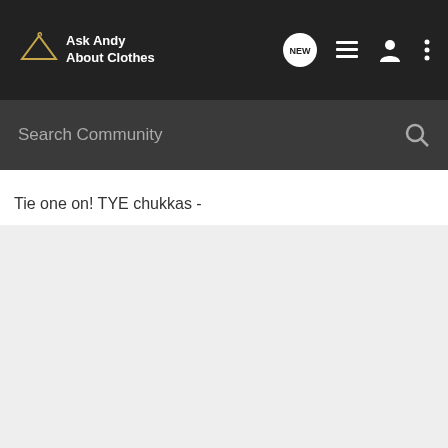Ask Andy About Clothes
Search Community
Tie one on! TYE chukkas -
[Figure (photo): Light gray rectangular content/image area below the page title]